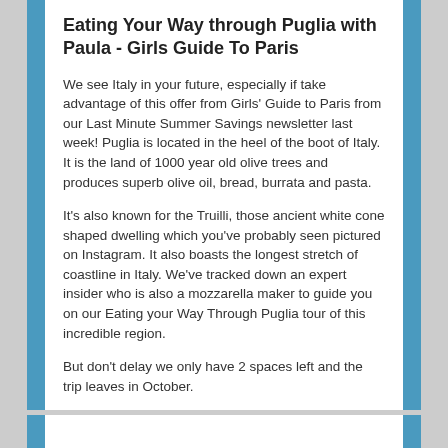Eating Your Way through Puglia with Paula - Girls Guide To Paris
We see Italy in your future, especially if take advantage of this offer from Girls' Guide to Paris from our Last Minute Summer Savings newsletter last week! Puglia is located in the heel of the boot of Italy. It is the land of 1000 year old olive trees and produces superb olive oil, bread, burrata and pasta.
It's also known for the Truilli, those ancient white cone shaped dwelling which you've probably seen pictured on Instagram. It also boasts the longest stretch of coastline in Italy. We've tracked down an expert insider who is also a mozzarella maker to guide you on our Eating your Way Through Puglia tour of this incredible region.
But don't delay we only have 2 spaces left and the trip leaves in October.
Get $300 off when you mention #JourneyWoman300